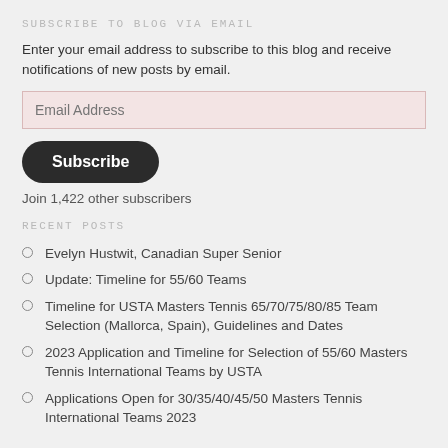SUBSCRIBE TO BLOG VIA EMAIL
Enter your email address to subscribe to this blog and receive notifications of new posts by email.
Email Address
Subscribe
Join 1,422 other subscribers
RECENT POSTS
Evelyn Hustwit, Canadian Super Senior
Update: Timeline for 55/60 Teams
Timeline for USTA Masters Tennis 65/70/75/80/85 Team Selection (Mallorca, Spain), Guidelines and Dates
2023 Application and Timeline for Selection of 55/60 Masters Tennis International Teams by USTA
Applications Open for 30/35/40/45/50 Masters Tennis International Teams 2023